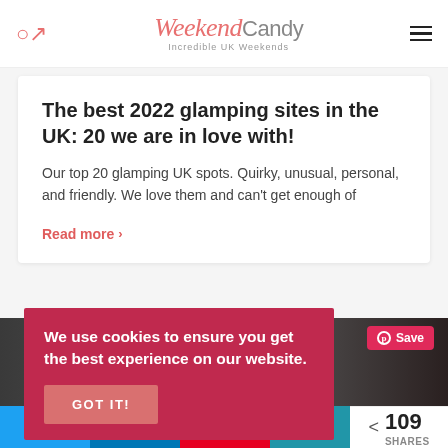WeekendCandy — Incredible UK Weekends
The best 2022 glamping sites in the UK: 20 we are in love with!
Our top 20 glamping UK spots. Quirky, unusual, personal, and friendly. We love them and can't get enough of
Read more >
[Figure (photo): Dark background image strip showing a partially visible person]
We use cookies to ensure you get the best experience on our website.
GOT IT!
< 109 SHARES